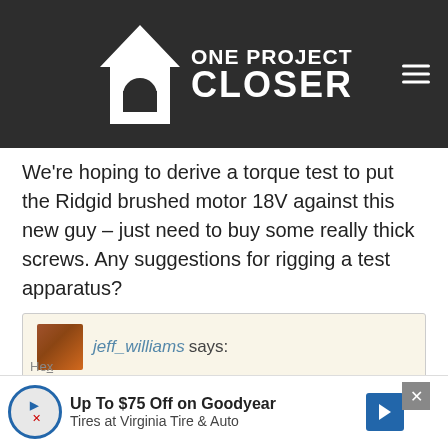[Figure (logo): One Project Closer website logo with house icon on dark grey header bar]
We're hoping to derive a torque test to put the Ridgid brushed motor 18V against this new guy – just need to buy some really thick screws. Any suggestions for rigging a test apparatus?
jeff_williams says:
March 21, 2012 at 2:01 pm

I liked Dewalt's doubled up composite material they used in a promo video. That way you know the material is consistent. You can't get that with normal construction lumber.
[Figure (other): Advertisement banner: Up To $75 Off on Goodyear Tires at Virginia Tire & Auto]